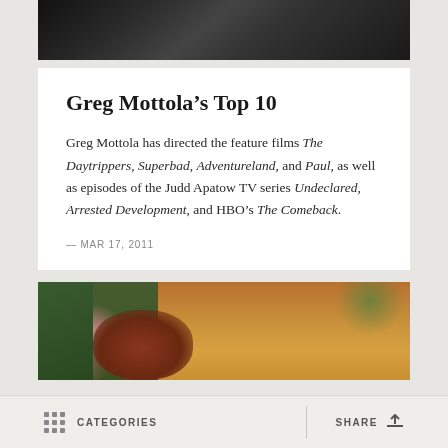[Figure (photo): Top portion of a dark jacket/leather photo, cropped]
Greg Mottola’s Top 10
Greg Mottola has directed the feature films The Daytrippers, Superbad, Adventureland, and Paul, as well as episodes of the Judd Apatow TV series Undeclared, Arrested Development, and HBO’s The Comeback.
— MAR 17, 2011
[Figure (photo): Person lying among colorful flowers (pink and orange), viewed from above]
CATEGORIES   SHARE